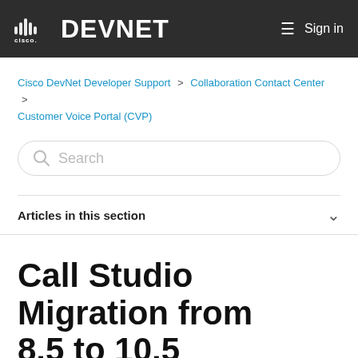CISCO DEVNET  Sign in
Cisco DevNet Developer Support > Collaboration Contact Center > Customer Voice Portal (CVP)
Search
Articles in this section
Call Studio Migration from 8.5 to 10.5